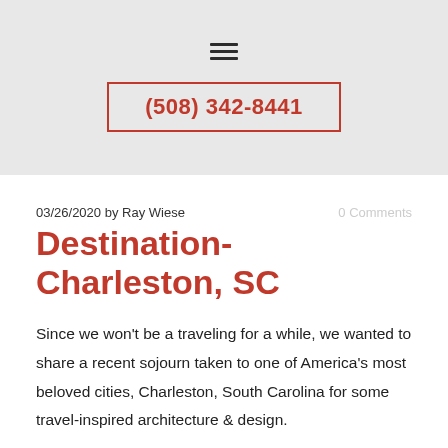(508) 342-8441
03/26/2020 by Ray Wiese
0 Comments
Destination-Charleston, SC
Since we won't be a traveling for a while, we wanted to share a recent sojourn taken to one of America's most beloved cities, Charleston, South Carolina for some travel-inspired architecture & design.